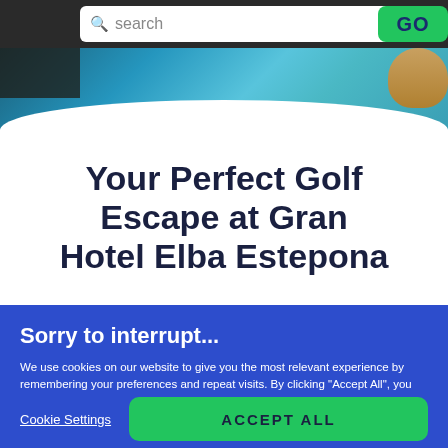[Figure (screenshot): Website header with search bar showing 'Search' placeholder text, a green GO button, and a background showing a swimming pool with palm trees and a person visible at the right edge.]
Your Perfect Golf Escape at Gran Hotel Elba Estepona
Sorry to interrupt...
We use cookies on our website to give you the most relevant experience by remembering your preferences and repeat visits. By clicking "Accept All", you consent to the use of ALL the cookies. However, you may visit "Cookie Settings" to provide a controlled consent.
Cookie Settings
ACCEPT ALL